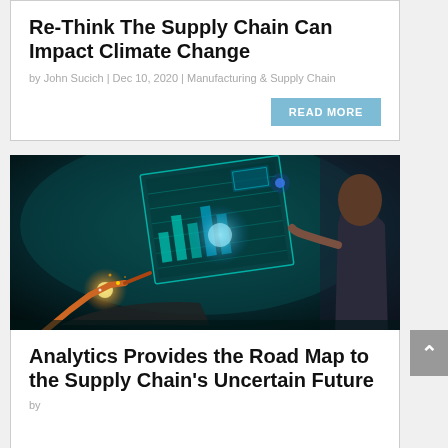Re-Think The Supply Chain Can Impact Climate Change
by John Sucich | Dec 10, 2020 | Manufacturing & Supply Chain
[Figure (photo): A person in a dark suit interacting with a holographic futuristic digital interface display, with an industrial robotic arm assembling a vehicle in the background, set against a dark teal atmospheric background.]
Analytics Provides the Road Map to the Supply Chain's Uncertain Future
by [author text cut off]